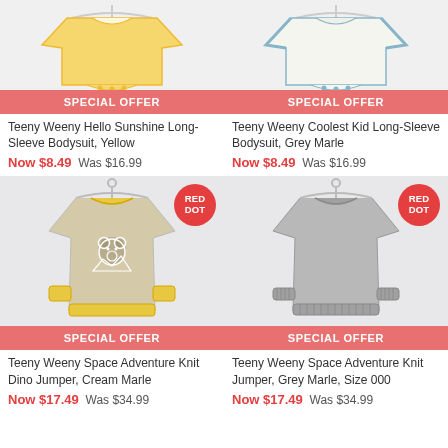[Figure (photo): Yellow long-sleeve bodysuit on white hanger, cropped top view]
[Figure (photo): Grey marl long-sleeve bodysuit on white hanger, cropped top view]
SPECIAL OFFER
SPECIAL OFFER
Teeny Weeny Hello Sunshine Long-Sleeve Bodysuit, Yellow
Now $8.49  Was $16.99
Teeny Weeny Coolest Kid Long-Sleeve Bodysuit, Grey Marle
Now $8.49  Was $16.99
[Figure (photo): Cream marl knit jumper with yellow trim and bear/dino graphic, on white hanger, RED DOT badge]
[Figure (photo): Grey marl knit jumper on white hanger, RED DOT badge]
SPECIAL OFFER
SPECIAL OFFER
Teeny Weeny Space Adventure Knit Dino Jumper, Cream Marle
Now $17.49  Was $34.99
Teeny Weeny Space Adventure Knit Jumper, Grey Marle, Size 000
Now $17.49  Was $34.99